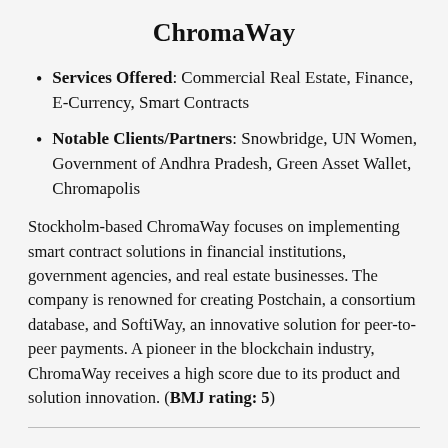ChromaWay
Services Offered: Commercial Real Estate, Finance, E-Currency, Smart Contracts
Notable Clients/Partners: Snowbridge, UN Women, Government of Andhra Pradesh, Green Asset Wallet, Chromapolis
Stockholm-based ChromaWay focuses on implementing smart contract solutions in financial institutions, government agencies, and real estate businesses. The company is renowned for creating Postchain, a consortium database, and SoftiWay, an innovative solution for peer-to-peer payments. A pioneer in the blockchain industry, ChromaWay receives a high score due to its product and solution innovation. (BMJ rating: 5)